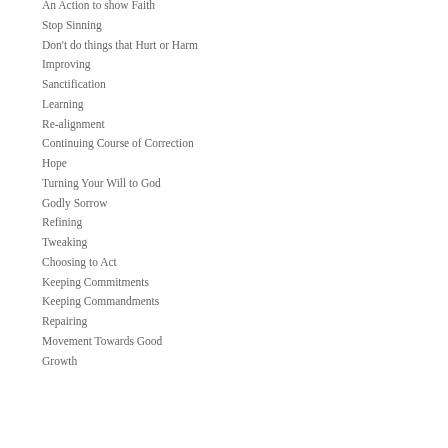An Action to show Faith
Stop Sinning
Don't do things that Hurt or Harm
Improving
Sanctification
Learning
Re-alignment
Continuing Course of Correction
Hope
Turning Your Will to God
Godly Sorrow
Refining
Tweaking
Choosing to Act
Keeping Commitments
Keeping Commandments
Repairing
Movement Towards Good
Growth